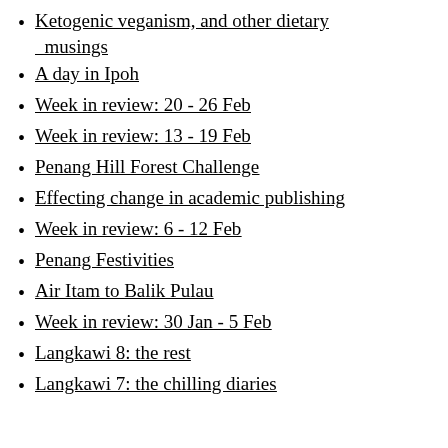Ketogenic veganism, and other dietary musings
A day in Ipoh
Week in review: 20 - 26 Feb
Week in review: 13 - 19 Feb
Penang Hill Forest Challenge
Effecting change in academic publishing
Week in review: 6 - 12 Feb
Penang Festivities
Air Itam to Balik Pulau
Week in review: 30 Jan - 5 Feb
Langkawi 8: the rest
Langkawi 7: the chilling diaries